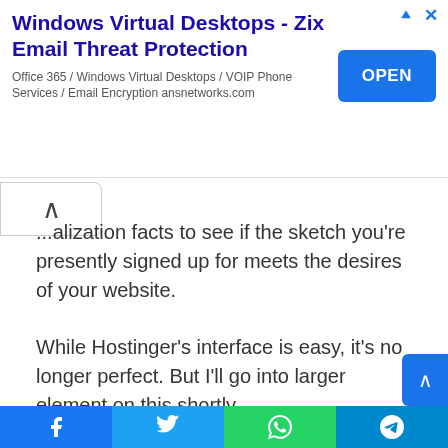[Figure (screenshot): Advertisement banner for Windows Virtual Desktops - Zix Email Threat Protection with OPEN button]
...alization facts to see if the sketch you're presently signed up for meets the desires of your website.
While Hostinger's interface is easy, it's no longer perfect. But I'll go into larger element on this shortly.
“Unlimited”
Hostinger has some exquisite limitless choices on hand for precise plans.
Both the Premium and Business shared internet hosting pla...